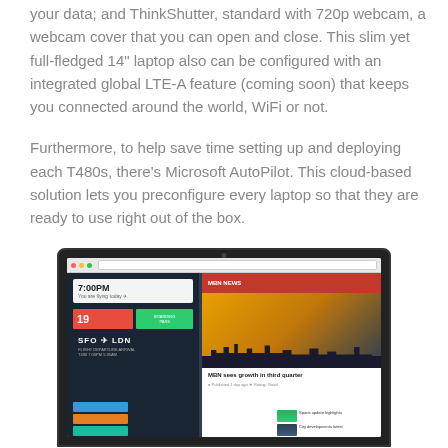your data; and ThinkShutter, standard with 720p webcam, a webcam cover that you can open and close. This slim yet full-fledged 14" laptop also can be configured with an integrated global LTE-A feature (coming soon) that keeps you connected around the world, WiFi or not.
Furthermore, to help save time setting up and deploying each T480s, there's Microsoft AutoPilot. This cloud-based solution lets you preconfigure every laptop so that they are ready to use right out of the box.
[Figure (photo): A Lenovo ThinkPad T480s laptop displaying a Windows 10 Start screen with live tiles showing flight information (7:00PM, SFO to LDN), date tiles, and a news site with MBN sees growth in third quarter headline over a city skyline image.]